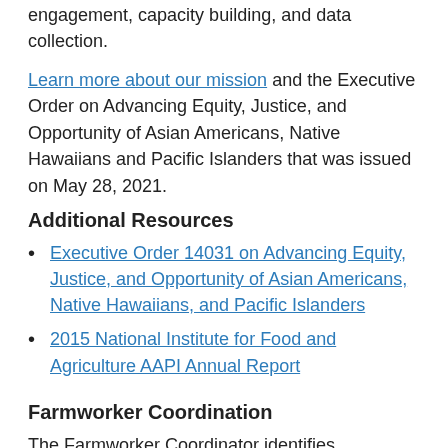engagement, capacity building, and data collection.
Learn more about our mission and the Executive Order on Advancing Equity, Justice, and Opportunity of Asian Americans, Native Hawaiians and Pacific Islanders that was issued on May 28, 2021.
Additional Resources
Executive Order 14031 on Advancing Equity, Justice, and Opportunity of Asian Americans, Native Hawaiians, and Pacific Islanders
2015 National Institute for Food and Agriculture AAPI Annual Report
Farmworker Coordination
The Farmworker Coordinator identifies challenges faces by